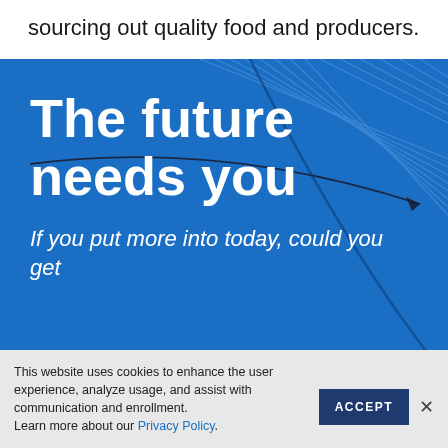sourcing out quality food and producers.
[Figure (illustration): Blue background section with diagonal arrow/chevron graphic lines in lighter blue on the right side, forming a geometric decorative pattern with large bold white text.]
The future needs you
If you put more into today, could you get
This website uses cookies to enhance the user experience, analyze usage, and assist with communication and enrollment. Learn more about our Privacy Policy.